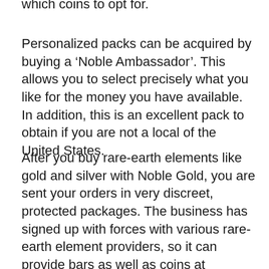which coins to opt for.
Personalized packs can be acquired by buying a ‘Noble Ambassador’. This allows you to select precisely what you like for the money you have available. In addition, this is an excellent pack to obtain if you are not a local of the United States.
After you buy rare-earth elements like gold and silver with Noble Gold, you are sent your orders in very discreet, protected packages. The business has signed up with forces with various rare-earth element providers, so it can provide bars as well as coins at inexpensive costs for customers. An added solution used by Noble Gold, which is well worth keeping in mind, is their redeem